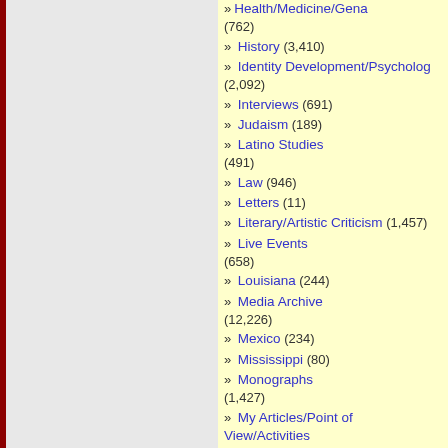Health/Medicine/Gena (762)
History (3,410)
Identity Development/Psychology (2,092)
Interviews (691)
Judaism (189)
Latino Studies (491)
Law (946)
Letters (11)
Literary/Artistic Criticism (1,457)
Live Events (658)
Louisiana (244)
Media Archive (12,226)
Mexico (234)
Mississippi (80)
Monographs (1,427)
My Articles/Point of View/Activities (52)